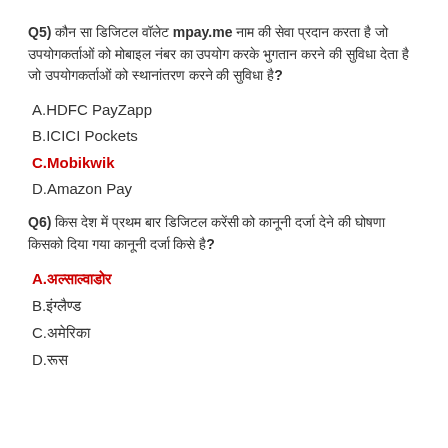Q5) कौन सा डिजिटल वॉलेट mpay.me नाम की सेवा प्रदान करता है जो उपयोगकर्ताओं को मोबाइल नंबर का उपयोग करके भुगतान करने की सुविधा देता है?
A.HDFC PayZapp
B.ICICI Pockets
C.Mobikwik
D.Amazon Pay
Q6) किस देश में प्रथम बार डिजिटल करेंसी को कानूनी दर्जा देने की घोषणा की गई?
A.अल्साल्वाडोर
B.इंग्लैण्ड
C.अमेरिका
D.रूस